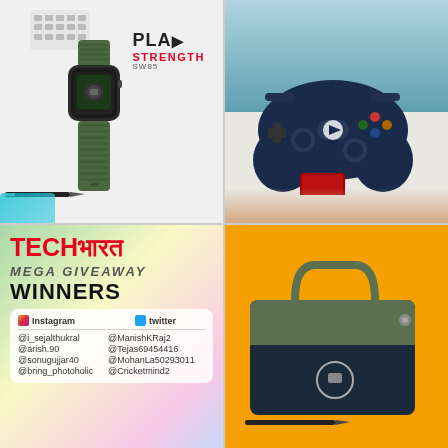[Figure (photo): Top-left cell: Green smartwatch (Play Strength SW85) on white desk with keyboard and pen visible. Logo text: PLAY STRENGTH SW85]
[Figure (photo): Top-right cell: Blue gaming controller being held with TECHAMRIT logo watermark visible]
[Figure (infographic): Bottom-left: TECHAMRIT MEGA GIVEAWAY WINNERS announcement with Instagram and Twitter winners listed]
Instagram: @i_sejalthukral, @arish.90, @sonugujjar40, @bring_photoholic | Twitter: @ManishKRaj2, @Tejas69454416, @MohanLa50293011, @Cricketmind2
[Figure (photo): Bottom-right cell: Dark blue and olive green laptop/tablet bag on orange/yellow background]